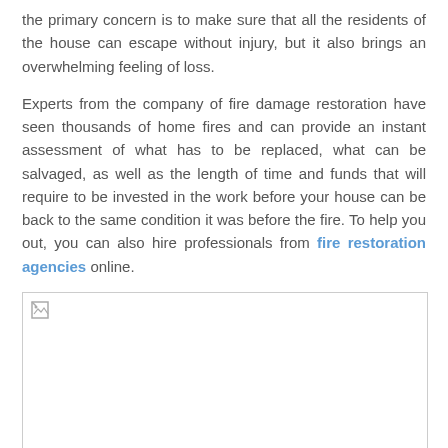the primary concern is to make sure that all the residents of the house can escape without injury, but it also brings an overwhelming feeling of loss.

Experts from the company of fire damage restoration have seen thousands of home fires and can provide an instant assessment of what has to be replaced, what can be salvaged, as well as the length of time and funds that will require to be invested in the work before your house can be back to the same condition it was before the fire. To help you out, you can also hire professionals from fire restoration agencies online.
[Figure (photo): Broken/missing image placeholder rectangle]